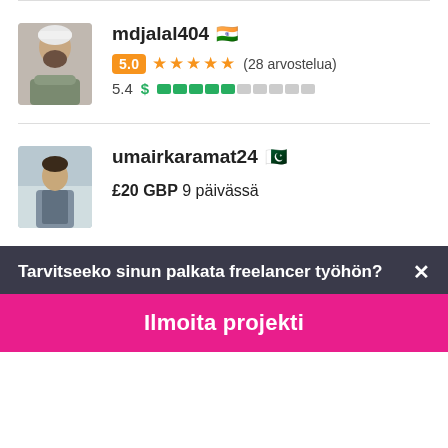mdjalal404 🇮🇳
5.0 ★★★★★ (28 arvostelua)
5.4 $ ▓▓▓▓▓░░░░░
[Figure (photo): Profile photo of mdjalal404, a bearded man in white clothing]
umairkaramat24 🇵🇰
£20 GBP 9 päivässä
[Figure (photo): Profile photo of umairkaramat24, a man standing outdoors]
Tarvitseeko sinun palkata freelancer työhön✕
Ilmoita projekti